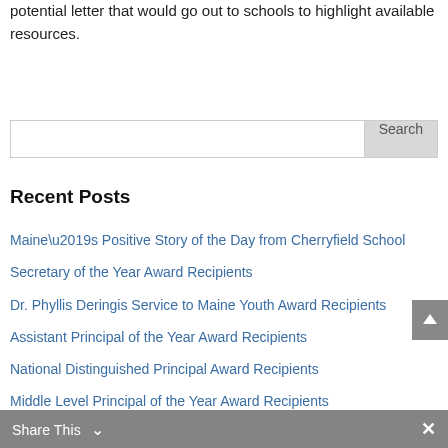potential letter that would go out to schools to highlight available resources.
Recent Posts
Maine’s Positive Story of the Day from Cherryfield School
Secretary of the Year Award Recipients
Dr. Phyllis Deringis Service to Maine Youth Award Recipients
Assistant Principal of the Year Award Recipients
National Distinguished Principal Award Recipients
Middle Level Principal of the Year Award Recipients
Share This